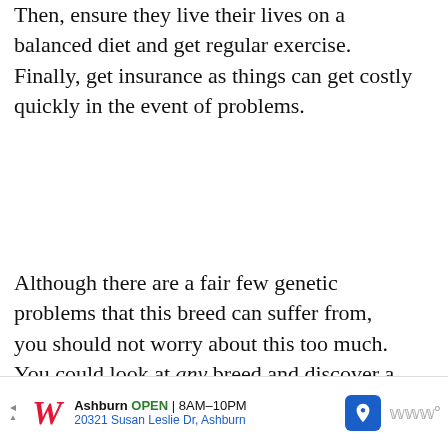Then, ensure they live their lives on a balanced diet and get regular exercise. Finally, get insurance as things can get costly quickly in the event of problems.
Although there are a fair few genetic problems that this breed can suffer from, you should not worry about this too much. You could look at any breed and discover a relatively similar list.
[Figure (screenshot): Advertisement banner: 'ADVANCE EQUITY IN YOUR COMMUNITY' in bold blue text, with a crowd photo and a 'WHAT'S NEXT' sidebar showing '16 Things You MUST Know...']
[Figure (screenshot): Walgreens advertisement bar: Walgreens logo, Ashburn OPEN 8AM-10PM, 20321 Susan Leslie Dr, Ashburn, navigation icon]